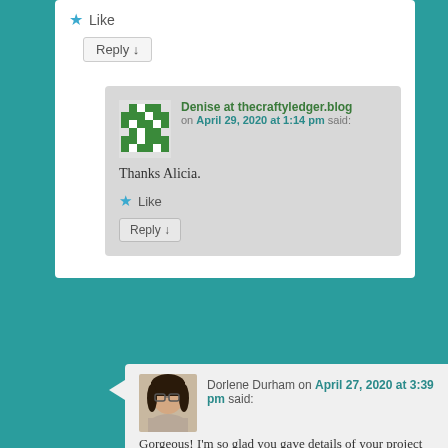★ Like
Reply ↓
Denise at thecraftyledger.blog on April 29, 2020 at 1:14 pm said:
Thanks Alicia.
★ Like
Reply ↓
[Figure (photo): Avatar image of a woman with dark hair and glasses]
Dorlene Durham on April 27, 2020 at 3:39 pm said:
Gorgeous! I'm so glad you gave details of your project